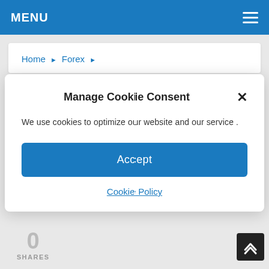MENU
Home ▶ Forex ▶
Manage Cookie Consent
We use cookies to optimize our website and our service .
Accept
Cookie Policy
getarticlestoday   April 13, 2022   Forex
No Comments
0
SHARES